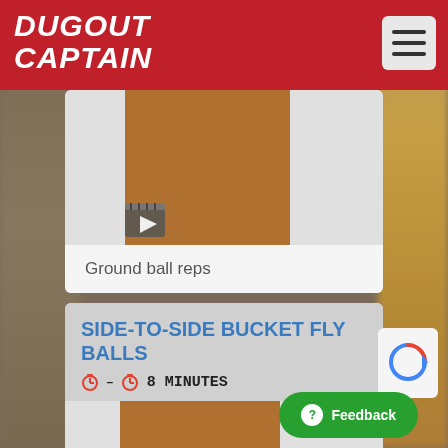DUGOUT CAPTAIN
[Figure (screenshot): Video thumbnail with brown/orange color and film clapper icon for Ground ball reps exercise]
Ground ball reps
SIDE-TO-SIDE BUCKET FLY BALLS
8 MINUTES
[Figure (screenshot): Video thumbnail with brown/orange color for Side-to-side bucket fly balls exercise]